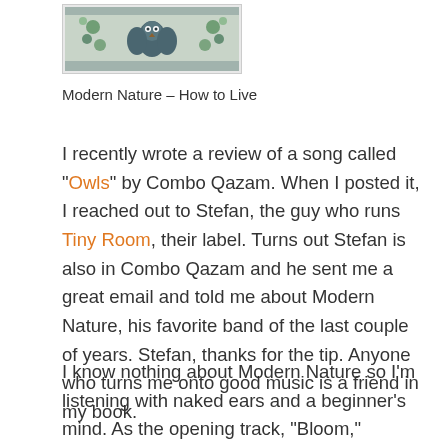[Figure (illustration): Album artwork thumbnail showing a decorative folk-art style illustration with birds and floral patterns in blue, green, and white tones, inside a thin border frame.]
Modern Nature – How to Live
I recently wrote a review of a song called "Owls" by Combo Qazam. When I posted it, I reached out to Stefan, the guy who runs Tiny Room, their label. Turns out Stefan is also in Combo Qazam and he sent me a great email and told me about Modern Nature, his favorite band of the last couple of years. Stefan, thanks for the tip. Anyone who turns me onto good music is a friend in my book.
I know nothing about Modern Nature so I'm listening with naked ears and a beginner's mind. As the opening track, "Bloom," unfolds, I think of "Broken